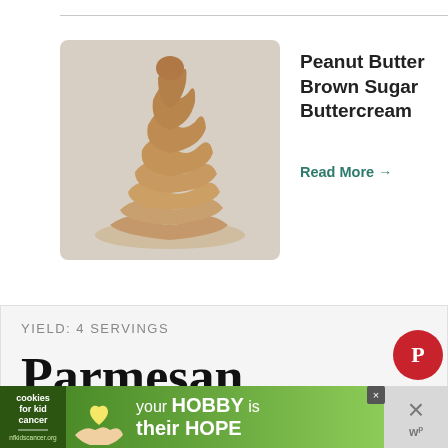[Figure (photo): Photo of piped peanut butter brown sugar buttercream frosting on white background]
Peanut Butter Brown Sugar Buttercream
Read More →
YIELD: 4 SERVINGS
Parmesan Polenta Brunch Bowl with
[Figure (photo): Thumbnail of Creamy Chicken and... dish]
WHAT'S NEXT → Creamy Chicken and...
[Figure (photo): Advertisement banner: your HOBBY is their HOPE - cookies for kids cancer]